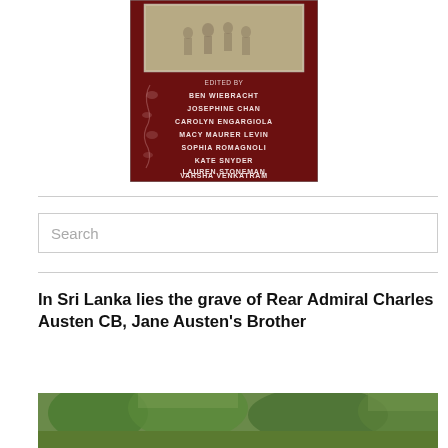[Figure (illustration): Book cover with dark red/maroon background showing an illustrated historical scene at top, decorated with floral motifs. Text reads 'EDITED BY' followed by editor names: BEN WIEBRACHT, JOSEPHINE CHAN, CAROLYN ENGARGIOLA, MACY MAURER LEVIN, SOPHIA ROMAGNOLI, KATE SNYDER, LAUREN STONEMAN, VARSHA VENKATRAM.]
[Figure (photo): Photograph of a gravesite in Sri Lanka, showing green vegetation and a burial area, partially visible at the bottom of the page.]
In Sri Lanka lies the grave of Rear Admiral Charles Austen CB, Jane Austen's Brother